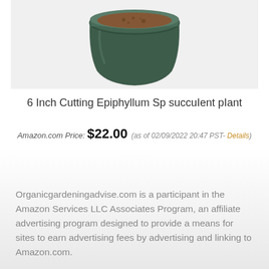[Figure (photo): A dark green ceramic pot with a succulent plant, viewed from slightly above, showing soil and the rim of the pot.]
6 Inch Cutting Epiphyllum Sp succuIent pIant
Amazon.com Price: $22.00 (as of 02/09/2022 20:47 PST- Details)
Organicgardeningadvise.com is a participant in the Amazon Services LLC Associates Program, an affiliate advertising program designed to provide a means for sites to earn advertising fees by advertising and linking to Amazon.com.